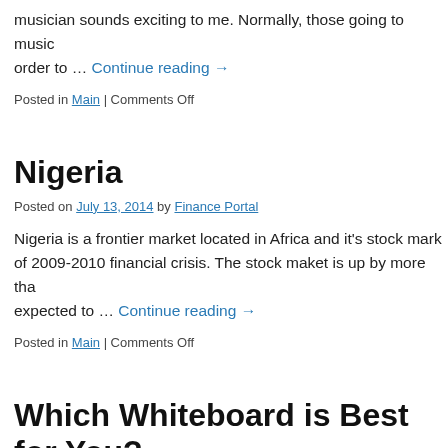musician sounds exciting to me. Normally, those going to music … Continue reading →
Posted in Main | Comments Off
Nigeria
Posted on July 13, 2014 by Finance Portal
Nigeria is a frontier market located in Africa and it's stock mark… of 2009-2010 financial crisis. The stock maket is up by more tha… expected to … Continue reading →
Posted in Main | Comments Off
Which Whiteboard is Best for You?
Posted on July 3, 2014 by Finance Portal
One of the best investments the traveling business person or edu… for whiteboards online is something portable. Moving whitboa…